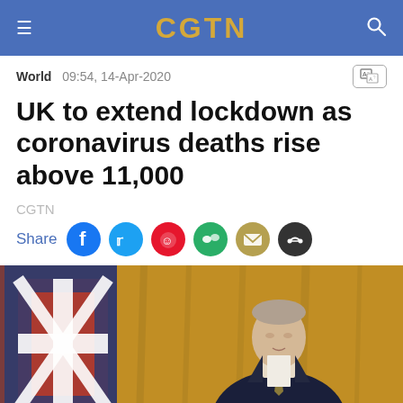CGTN
World  09:54, 14-Apr-2020
UK to extend lockdown as coronavirus deaths rise above 11,000
CGTN
Share
[Figure (photo): A man in a dark suit with a tie standing in front of a Union Jack flag and a golden/wooden background, appearing to be at a government press conference podium area.]